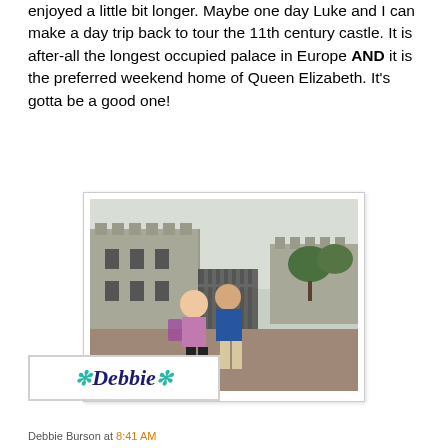enjoyed a little bit longer. Maybe one day Luke and I can make a day trip back to tour the 11th century castle. It is after-all the longest occupied palace in Europe AND it is the preferred weekend home of Queen Elizabeth. It's gotta be a good one!
[Figure (photo): A couple standing in front of Windsor Castle. A woman in a purple shirt and black shorts stands next to a tall bald man in a blue striped polo shirt and khaki shorts. The castle and iron gates are visible in the background along with green trees.]
[Figure (logo): A signature logo reading '*Debbie*' with decorative teal asterisk/snowflake symbols on each side, in dark navy italic serif font, inside a light gray bordered box.]
Debbie Burson at 8:41 AM